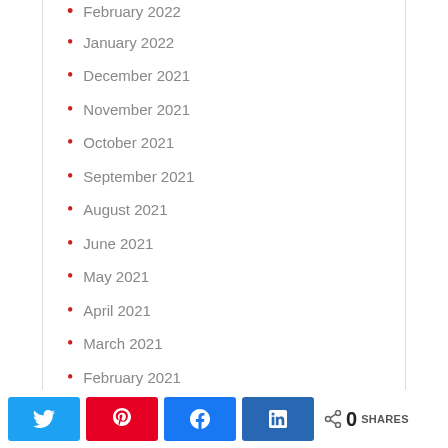February 2022
January 2022
December 2021
November 2021
October 2021
September 2021
August 2021
June 2021
May 2021
April 2021
March 2021
February 2021
0 SHARES